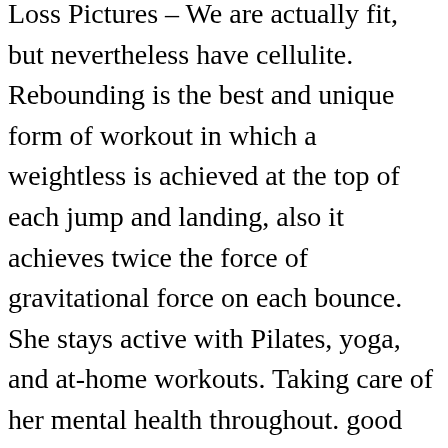Loss Pictures – We are actually fit, but nevertheless have cellulite. Rebounding is the best and unique form of workout in which a weightless is achieved at the top of each jump and landing, also it achieves twice the force of gravitational force on each bounce. She stays active with Pilates, yoga, and at-home workouts. Taking care of her mental health throughout. good space to set it up. I knew that I might have a harder time losing the baby weight the second time around because I was 15 pounds heavier from the start of this pregnancy versus my first. Once she cut out sugar, her PCOS